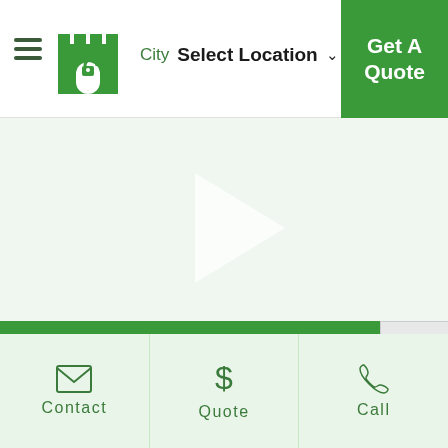City Select Location
Get A Quote
[Figure (screenshot): Hero area with play button triangle on light green background, suggesting an embedded video player]
Watch Video
Contact | Quote | Call